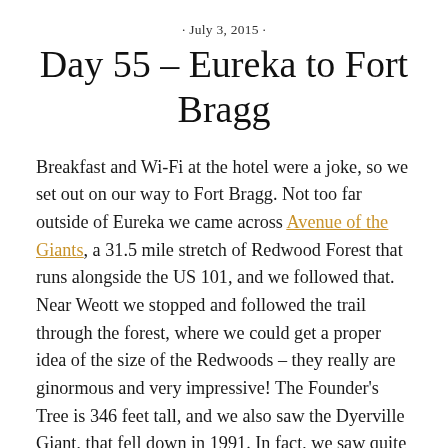· July 3, 2015 ·
Day 55 – Eureka to Fort Bragg
Breakfast and Wi-Fi at the hotel were a joke, so we set out on our way to Fort Bragg. Not too far outside of Eureka we came across Avenue of the Giants, a 31.5 mile stretch of Redwood Forest that runs alongside the US 101, and we followed that. Near Weott we stopped and followed the trail through the forest, where we could get a proper idea of the size of the Redwoods – they really are ginormous and very impressive! The Founder's Tree is 346 feet tall, and we also saw the Dyerville Giant, that fell down in 1991. In fact, we saw quite a few fallen trees and for trees of that size their